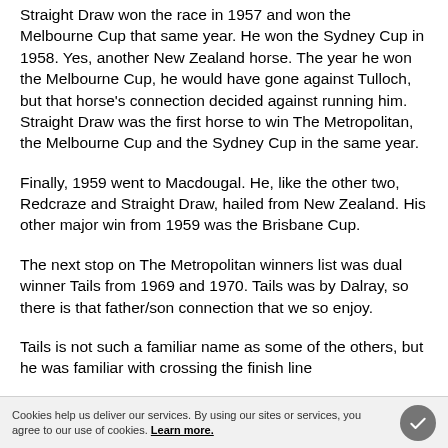Straight Draw won the race in 1957 and won the Melbourne Cup that same year. He won the Sydney Cup in 1958. Yes, another New Zealand horse. The year he won the Melbourne Cup, he would have gone against Tulloch, but that horse's connection decided against running him. Straight Draw was the first horse to win The Metropolitan, the Melbourne Cup and the Sydney Cup in the same year.
Finally, 1959 went to Macdougal. He, like the other two, Redcraze and Straight Draw, hailed from New Zealand. His other major win from 1959 was the Brisbane Cup.
The next stop on The Metropolitan winners list was dual winner Tails from 1969 and 1970. Tails was by Dalray, so there is that father/son connection that we so enjoy.
Tails is not such a familiar name as some of the others, but he was familiar with crossing the finish line
Cookies help us deliver our services. By using our sites or services, you agree to our use of cookies. Learn more.